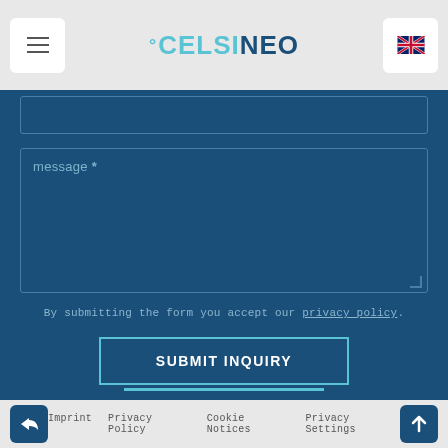Celsineo website header with menu, logo, and language selector
message *
By submitting the form you accept our privacy policy.
SUBMIT INQUIRY
Imprint | Privacy Policy | Cookie Notices | Privacy Settings